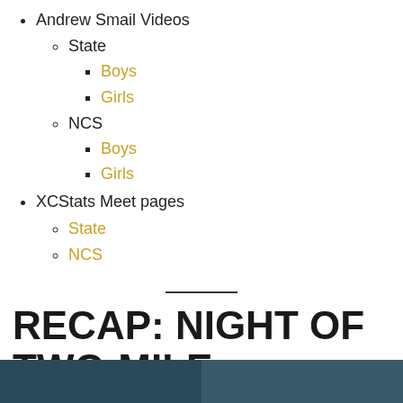Andrew Smail Videos
State
Boys
Girls
NCS
Boys
Girls
XCStats Meet pages
State
NCS
RECAP: NIGHT OF TWO-MILE MADNESS
[Figure (photo): Two partial photo thumbnails visible at the bottom of the page — one darker (left) and one slightly lighter (right).]